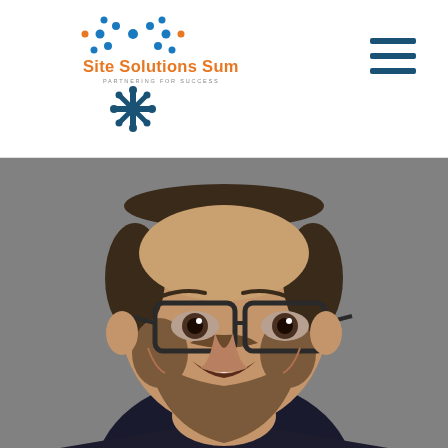[Figure (logo): Site Solutions Summit logo with blue snowflake/people icon and orange text 'Site Solutions Summit' with tagline 'PARTNERING FOR SUCCESS']
[Figure (photo): Professional headshot of a smiling man with a beard and dark-rimmed glasses wearing a dark suit jacket, set against a gray background]